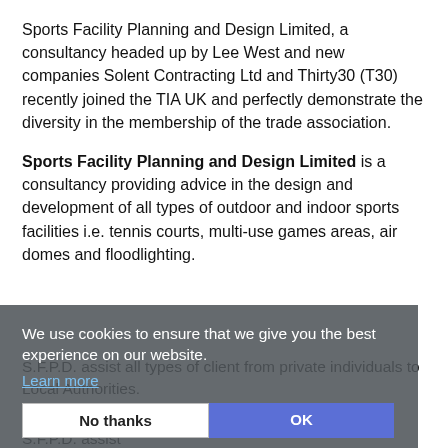Sports Facility Planning and Design Limited, a consultancy headed up by Lee West and new companies Solent Contracting Ltd and Thirty30 (T30) recently joined the TIA UK and perfectly demonstrate the diversity in the membership of the trade association.
Sports Facility Planning and Design Limited is a consultancy providing advice in the design and development of all types of outdoor and indoor sports facilities i.e. tennis courts, multi-use games areas, air domes and floodlighting.
S.F.P.D. can provide a range of services to clients for all types of tennis courts and previous clients include the Lawn Tennis Associaton and The All England Lawn Tennis Club
[Figure (screenshot): Cookie consent overlay with dark gray background, text 'We use cookies to ensure that we give you the best experience on our website.' with a 'Learn more' link, and two buttons: 'No thanks' and 'OK' (blue).]
S.F.P.D. assist all types of client from private individuals to Local Authorities.